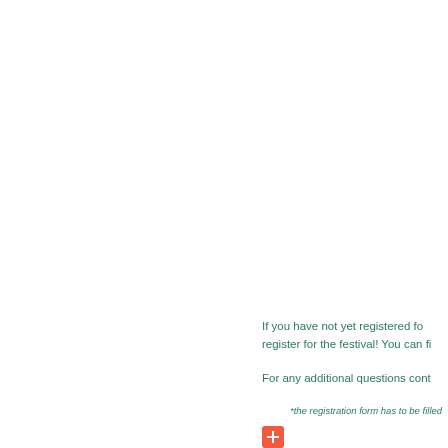If you have not yet registered fo... register for the festival! You can fi...
For any additional questions cont...
*the registration form has to be filled...
[Figure (other): A red/orange square button with a white plus (+) sign]